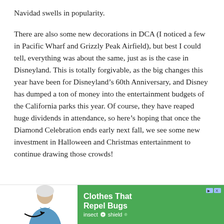Navidad swells in popularity.
There are also some new decorations in DCA (I noticed a few in Pacific Wharf and Grizzly Peak Airfield), but best I could tell, everything was about the same, just as is the case in Disneyland. This is totally forgivable, as the big changes this year have been for Disneyland’s 60th Anniversary, and Disney has dumped a ton of money into the entertainment budgets of the California parks this year. Of course, they have reaped huge dividends in attendance, so here’s hoping that once the Diamond Celebration ends early next fall, we see some new investment in Halloween and Christmas entertainment to continue drawing those crowds!
[Figure (other): Advertisement banner for Insect Shield featuring a woman in a blue shirt and text 'Clothes That Repel Bugs' with the Insect Shield logo.]